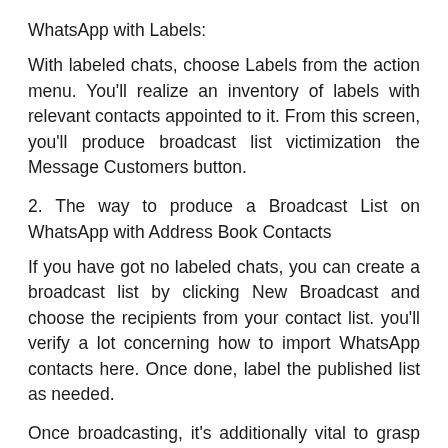WhatsApp with Labels:
With labeled chats, choose Labels from the action menu. You'll realize an inventory of labels with relevant contacts appointed to it. From this screen, you'll produce broadcast list victimization the Message Customers button.
2. The way to produce a Broadcast List on WhatsApp with Address Book Contacts
If you have got no labeled chats, you can create a broadcast list by clicking New Broadcast and choose the recipients from your contact list. you'll verify a lot concerning how to import WhatsApp contacts here. Once done, label the published list as needed.
Once broadcasting, it's additionally vital to grasp who can receive your message and if your